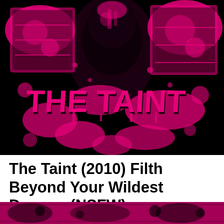[Figure (illustration): Movie poster/artwork for 'The Taint' (2010) — black background with hot pink splatter-style artwork showing a figure and comic-style illustrations in the corners, with the title 'THE TAINT' in large dripping horror-style lettering in hot pink]
The Taint (2010) Filth Beyond Your Wildest Dreams (NSFW)
[Figure (illustration): Bottom strip of the same or similar hot pink and black comic/horror artwork, partially visible at the bottom of the page]